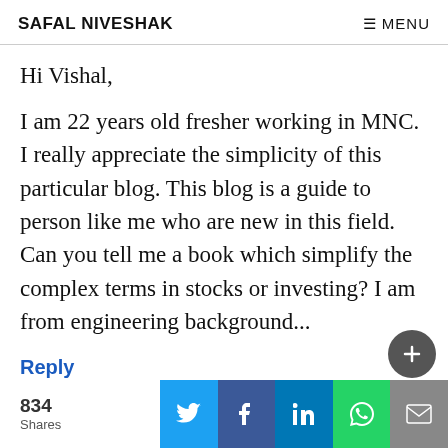SAFAL NIVESHAK | ≡ MENU
Hi Vishal,
I am 22 years old fresher working in MNC. I really appreciate the simplicity of this particular blog. This blog is a guide to person like me who are new in this field. Can you tell me a book which simplify the complex terms in stocks or investing? I am from engineering background...
Reply
834 Shares | Twitter | Facebook | LinkedIn | WhatsApp | Email